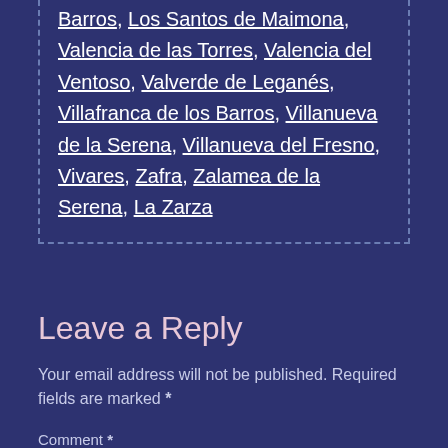Barros, Los Santos de Maimona, Valencia de las Torres, Valencia del Ventoso, Valverde de Leganés, Villafranca de los Barros, Villanueva de la Serena, Villanueva del Fresno, Vivares, Zafra, Zalamea de la Serena, La Zarza
Leave a Reply
Your email address will not be published. Required fields are marked *
Comment *